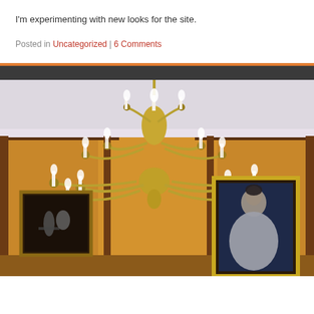I'm experimenting with new looks for the site.
Posted in Uncategorized | 6 Comments
[Figure (photo): Interior room photograph showing an elegant brass/gold multi-arm chandelier with candle-style lights hanging from a white ceiling. The walls are covered in warm golden-orange damask wallpaper with wood paneling borders. Two framed paintings hang on the walls: a dark still-life painting on the left, and a portrait of a woman in a white dress on the right in a gold frame.]